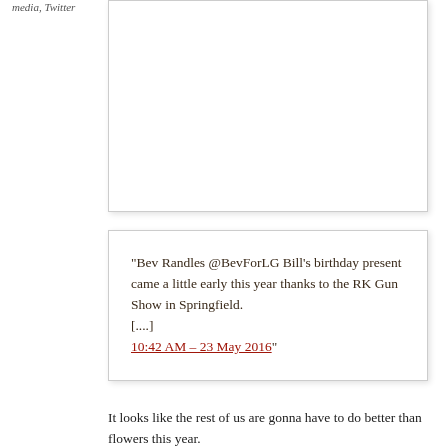media, Twitter
[Figure (screenshot): Partial tweet box (top cut off), white background with border and shadow]
“Bev Randles @BevForLG Bill’s birthday present came a little early this year thanks to the RK Gun Show in Springfield. [....]  10:42 AM – 23 May 2016”
It looks like the rest of us are gonna have to do better than flowers this year.